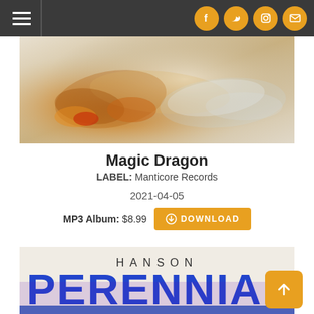Navigation header with hamburger menu and social icons (Facebook, Twitter, Instagram, Email)
[Figure (photo): Close-up photo of a translucent crystal or amber-colored mineral/sculpture on a light background]
Magic Dragon
LABEL: Manticore Records
2021-04-05
MP3 Album: $8.99  DOWNLOAD
[Figure (photo): Album cover for HANSON - PERENNIAL, showing stylized blue and purple text on a light background]